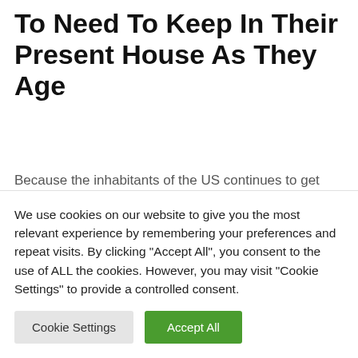To Need To Keep In Their Present House As They Age
Because the inhabitants of the US continues to get older, any other issue contributing to the rise in land costs is that extra other folks select to stick of their present houses as they age. In line with AARP, "the quantity of house owners elderly 85 and older has larger dramatically over the last decade-from about 3 million in 2005 to greater than 5 million in 2015." This development is prone
We use cookies on our website to give you the most relevant experience by remembering your preferences and repeat visits. By clicking "Accept All", you consent to the use of ALL the cookies. However, you may visit "Cookie Settings" to provide a controlled consent.